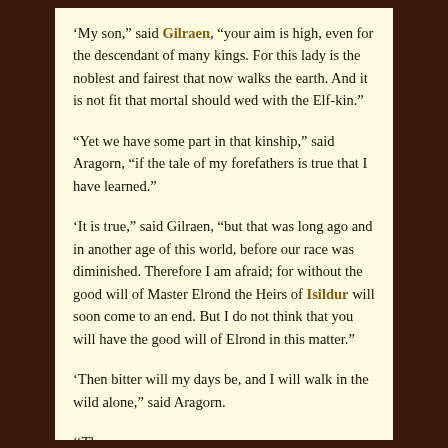'My son,' said Gilraen, 'your aim is high, even for the descendant of many kings. For this lady is the noblest and fairest that now walks the earth. And it is not fit that mortal should wed with the Elf-kin.'
'Yet we have some part in that kinship,' said Aragorn, 'if the tale of my forefathers is true that I have learned.'
'It is true,' said Gilraen, 'but that was long ago and in another age of this world, before our race was diminished. Therefore I am afraid; for without the good will of Master Elrond the Heirs of Isildur will soon come to an end. But I do not think that you will have the good will of Elrond in this matter.'
'Then bitter will my days be, and I will walk in the wild alone,' said Aragorn.
'Then...' said Gilraen...